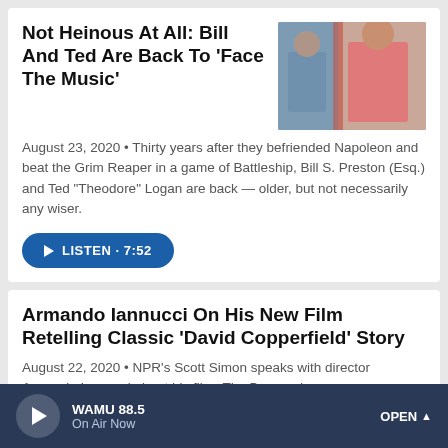Not Heinous At All: Bill And Ted Are Back To 'Face The Music'
[Figure (photo): Two men standing, one in pink shirt, photo from the film]
August 23, 2020 • Thirty years after they befriended Napoleon and beat the Grim Reaper in a game of Battleship, Bill S. Preston (Esq.) and Ted "Theodore" Logan are back — older, but not necessarily any wiser.
▶ LISTEN · 7:52
Armando Iannucci On His New Film Retelling Classic 'David Copperfield' Story
August 22, 2020 • NPR's Scott Simon speaks with director Armando Iannucci about his film, The Personal
WAMU 88.5  On Air Now  OPEN